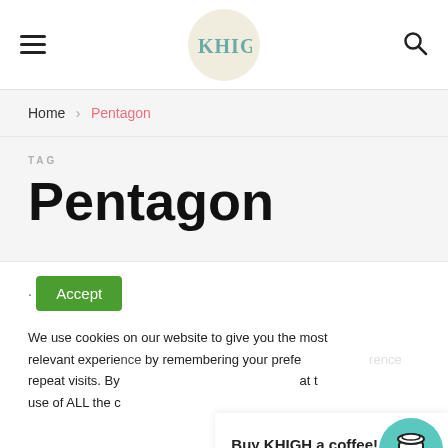KHIGH
Home > Pentagon
TAG
Pentagon
Accept
We use cookies on our website to give you the most relevant experience by remembering your preferences and repeat visits. By clicking "Accept", you consent to the use of ALL the cookies.
Buy KHIGH a coffee!